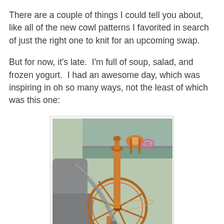There are a couple of things I could tell you about, like all of the new cowl patterns I favorited in search of just the right one to knit for an upcoming swap.
But for now, it's late.  I'm full of soup, salad, and frozen yogurt.  I had an awesome day, which was inspiring in oh so many ways, not the least of which was this one:
[Figure (photo): A wooden spinning wheel secured with a seatbelt in the back seat of a car, photographed near a window with a parking lot visible outside.]